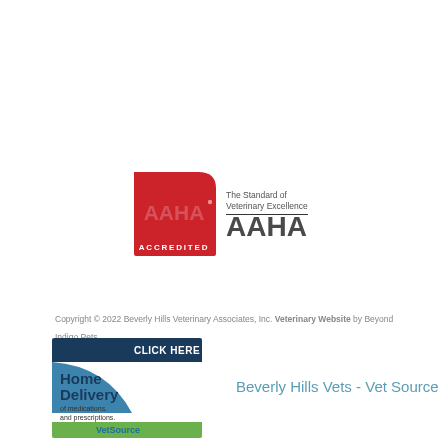[Figure (logo): AAHA Accredited logo with red square with rounded top-right corner showing 'AAHA' letters and 'ACCREDITED' text below, alongside 'The Standard of Veterinary Excellence' tagline and large AAHA brand text]
Copyright © 2022 Beverly Hills Veterinary Associates, Inc. Veterinary Website by Beyond Indigo Pets
[Figure (illustration): VetSource home delivery advertisement banner showing 'CLICK HERE', 'Home Delivery of medications and prescriptions.' with VetSource logo on green/blue background]
Beverly Hills Vets - Vet Source